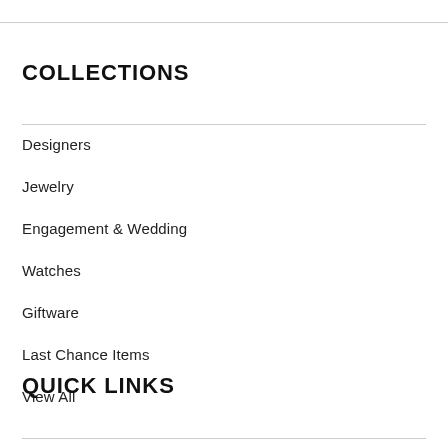COLLECTIONS
Designers
Jewelry
Engagement & Wedding
Watches
Giftware
Last Chance Items
View All
QUICK LINKS